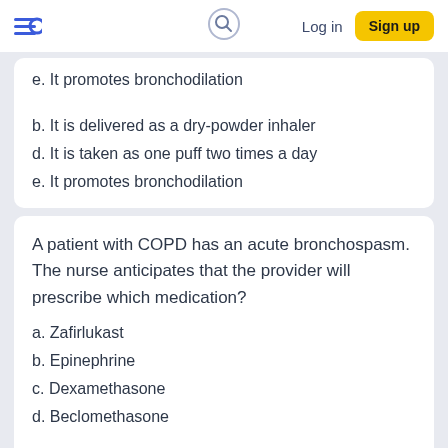Log in | Sign up
e. It promotes bronchodilation
b. It is delivered as a dry-powder inhaler
d. It is taken as one puff two times a day
e. It promotes bronchodilation
A patient with COPD has an acute bronchospasm. The nurse anticipates that the provider will prescribe which medication?
a. Zafirlukast
b. Epinephrine
c. Dexamethasone
d. Beclomethasone
b. Epinephrine